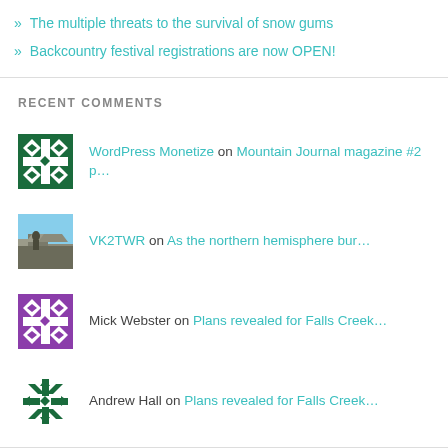» The multiple threats to the survival of snow gums
» Backcountry festival registrations are now OPEN!
RECENT COMMENTS
WordPress Monetize on Mountain Journal magazine #2 p…
VK2TWR on As the northern hemisphere bur…
Mick Webster on Plans revealed for Falls Creek…
Andrew Hall on Plans revealed for Falls Creek…
Dr Bob Rich on 'Feral horse removals in…